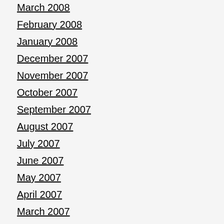March 2008
February 2008
January 2008
December 2007
November 2007
October 2007
September 2007
August 2007
July 2007
June 2007
May 2007
April 2007
March 2007
February 2007